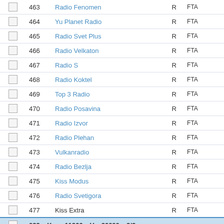|  | Num | Channel | T | Encryption |
| --- | --- | --- | --- | --- |
| ☐ | 463 | Radio Fenomen | R | FTA |
| ☐ | 464 | Yu Planet Radio | R | FTA |
| ☐ | 465 | Radio Svet Plus | R | FTA |
| ☐ | 466 | Radio Velkaton | R | FTA |
| ☐ | 467 | Radio S | R | FTA |
| ☐ | 468 | Radio Koktel | R | FTA |
| ☐ | 469 | Top 3 Radio | R | FTA |
| ☐ | 470 | Radio Posavina | R | FTA |
| ☐ | 471 | Radio Izvor | R | FTA |
| ☐ | 472 | Radio Plehan | R | FTA |
| ☐ | 473 | Vulkanradio | R | FTA |
| ☐ | 474 | Radio Bezlja | R | FTA |
| ☐ | 475 | Kiss Modus | R | FTA |
| ☐ | 476 | Radio Svetigora | R | FTA |
| ☐ | 477 | Kiss Extra | R | FTA |
| 032 - Ku  11366 V 30000 2/3 |  |  |  |  |
|  | Channel |  | T | Encryption |
| 👍👎 | 478 | WAU HD | TV | Conax Irdeto 2 |
| 👍👎 | 479 | The Fishing and Hunting Channel | TV | Conax Irdeto 2 |
| 👍👎 |  | HBO Central |  | Conax |